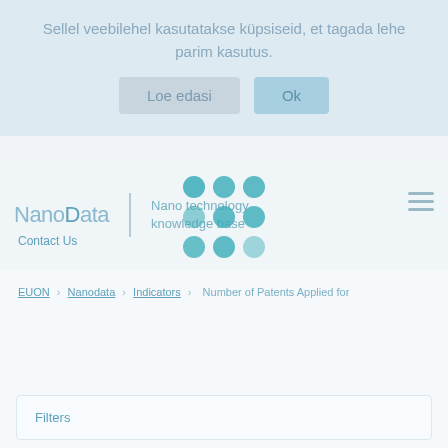Sellel veebilehel kasutatakse küpsiseid, et tagada lehe parim kasutus.
Loe edasi
Ok
[Figure (logo): NanoData logo with nano technology knowledge base tagline and teal dot grid graphic]
Contact Us
EUON > Nanodata > Indicators > Number of Patents Applied for
Filters